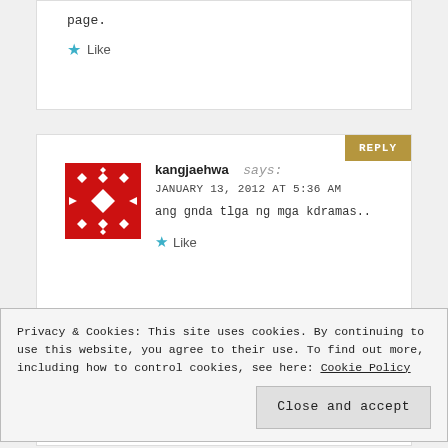page.
★ Like
kangjaehwa says:
JANUARY 13, 2012 AT 5:36 AM
ang gnda tlga ng mga kdramas..
★ Like
Privacy & Cookies: This site uses cookies. By continuing to use this website, you agree to their use.
To find out more, including how to control cookies, see here: Cookie Policy
Close and accept